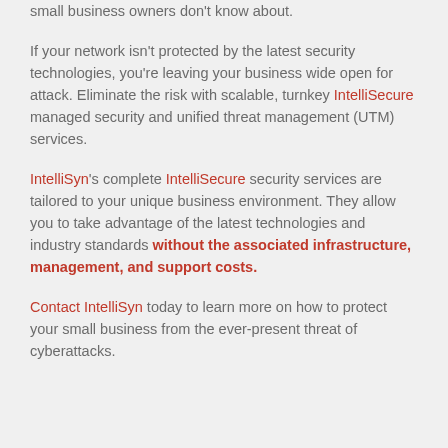small business owners don't know about.
If your network isn't protected by the latest security technologies, you're leaving your business wide open for attack. Eliminate the risk with scalable, turnkey IntelliSecure managed security and unified threat management (UTM) services.
IntelliSyn's complete IntelliSecure security services are tailored to your unique business environment. They allow you to take advantage of the latest technologies and industry standards without the associated infrastructure, management, and support costs.
Contact IntelliSyn today to learn more on how to protect your small business from the ever-present threat of cyberattacks.